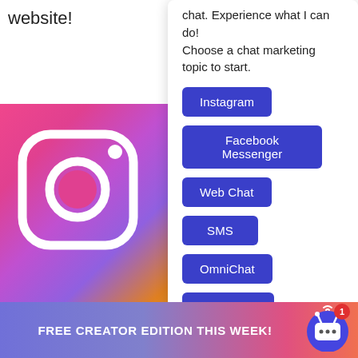website!
chat. Experience what I can do! Choose a chat marketing topic to start.
Instagram
Facebook Messenger
Web Chat
SMS
OmniChat
Agency
[Figure (logo): Instagram logo icon (white camera icon on gradient background)]
NEW! D DM Au
Grow foll via Instag
FREE CREATOR EDITION THIS WEEK!
[Figure (illustration): Chat bot / chatbot icon with notification badge showing number 1]